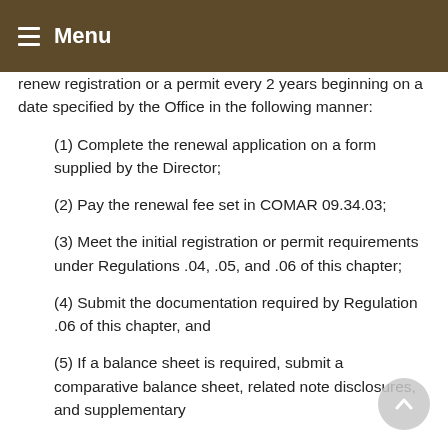≡ Menu
renew registration or a permit every 2 years beginning on a date specified by the Office in the following manner:
(1) Complete the renewal application on a form supplied by the Director;
(2) Pay the renewal fee set in COMAR 09.34.03;
(3) Meet the initial registration or permit requirements under Regulations .04, .05, and .06 of this chapter;
(4) Submit the documentation required by Regulation .06 of this chapter, and
(5) If a balance sheet is required, submit a comparative balance sheet, related note disclosures, and supplementary